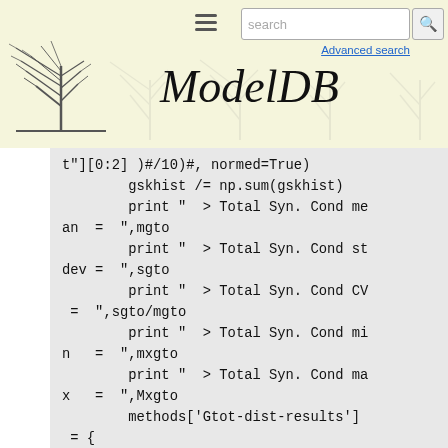ModelDB - Advanced search
t"][0:2] )#/10)#, normed=True)
        gskhist /= np.sum(gskhist)
        print "  > Total Syn. Cond mean  = ",mgto
        print "  > Total Syn. Cond stdev = ",sgto
        print "  > Total Syn. Cond CV = ",sgto/mgto
        print "  > Total Syn. Cond min = ",mxgto
        print "  > Total Syn. Cond max = ",Mxgto
        methods['Gtot-dist-results'] = {
                'mean': mgto, 'stdev': sgto, 'min': mxgto, 'max': Mxgto,
                'histogram':gskhist, 'bins-bounders':gskbins
        }
        if checkinmethods('Gtot-rec')